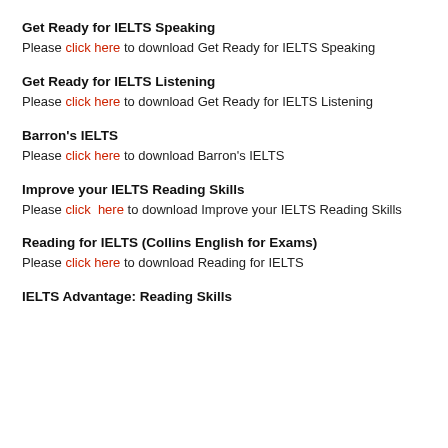Get Ready for IELTS Speaking
Please click here to download Get Ready for IELTS Speaking
Get Ready for IELTS Listening
Please click here to download Get Ready for IELTS Listening
Barron's IELTS
Please click here to download Barron's IELTS
Improve your IELTS Reading Skills
Please click here to download Improve your IELTS Reading Skills
Reading for IELTS (Collins English for Exams)
Please click here to download Reading for IELTS
IELTS Advantage: Reading Skills